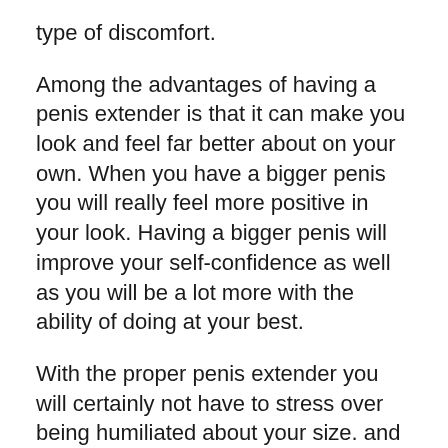type of discomfort.
Among the advantages of having a penis extender is that it can make you look and feel far better about on your own. When you have a bigger penis you will really feel more positive in your look. Having a bigger penis will improve your self-confidence as well as you will be a lot more with the ability of doing at your best.
With the proper penis extender you will certainly not have to stress over being humiliated about your size. and also you will no more need to rely upon various other techniques for penis improvement. You will certainly be able to flaunt your manhood to those you prefer.